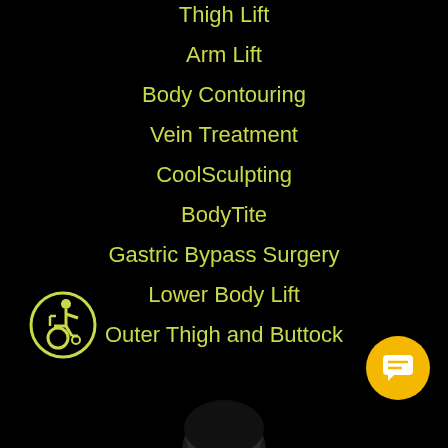Thigh Lift
Arm Lift
Body Contouring
Vein Treatment
CoolSculpting
BodyTite
Gastric Bypass Surgery
Lower Body Lift
Outer Thigh and Buttock
[Figure (illustration): Accessibility wheelchair icon in yellow circle outline]
[Figure (illustration): Yellow circular chat/message button in bottom right corner]
[Figure (photo): Person's head/hair partially visible at bottom center of page]